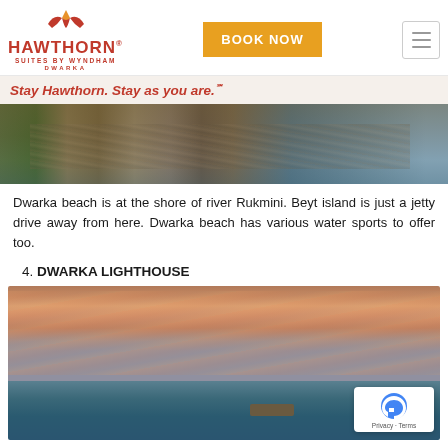Hawthorn Suites by Wyndham Dwarka — BOOK NOW
Stay Hawthorn. Stay as you are.℠
[Figure (photo): Coastal rocky beach scene with people standing near a stone wall, greenery on the left, ocean in the background]
Dwarka beach is at the shore of river Rukmini. Beyt island is just a jetty drive away from here. Dwarka beach has various water sports to offer too.
4. DWARKA LIGHTHOUSE
[Figure (photo): A black and white striped lighthouse on a rocky outcrop with a teal ocean and dramatic pink-orange cloudy sunset sky]